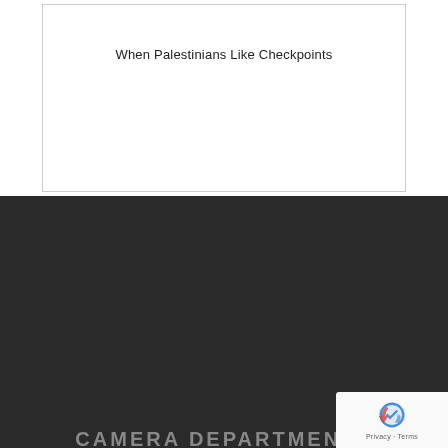When Palestinians Like Checkpoints
CAMERA DEPARTMENTS
[Figure (other): Social media icons: Facebook (f), Twitter (bird), and email/envelope icons in grey on dark background]
UK MEDIA WATCH
REVISTA
CAMERA ON CAMPUS